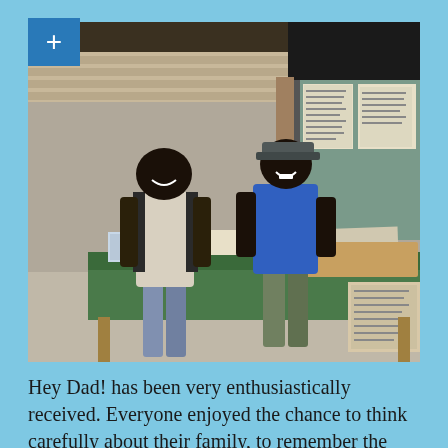[Figure (photo): Two men standing behind a green-covered table with papers and documents on it, inside a building. The man on the left wears a grey apron over a dark shirt; the man on the right wears a blue t-shirt. Behind them are wooden walls and papers posted on boards.]
Hey Dad! has been very enthusiastically received. Everyone enjoyed the chance to think carefully about their family, to remember the positive and negative experiences from their childhood, to realise what good things they are